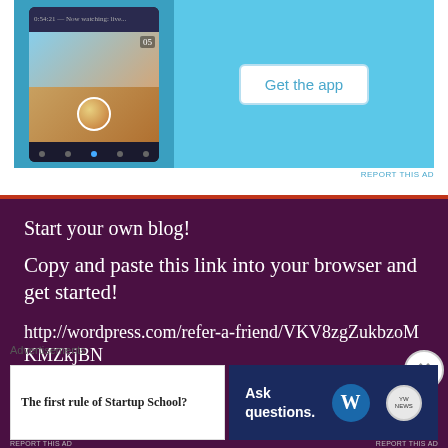[Figure (screenshot): Mobile app advertisement banner with phone mockup showing app interface and 'Get the app' button on light blue background]
REPORT THIS AD
Start your own blog!
Copy and paste this link into your browser and get started!
http://wordpress.com/refer-a-friend/VKV8zgZukbzoMKMZkjBN
Advertisements
[Figure (screenshot): Two advertisement banners at bottom: 'The first rule of Startup School?' and 'Ask questions.' with WordPress logo]
REPORT THIS AD